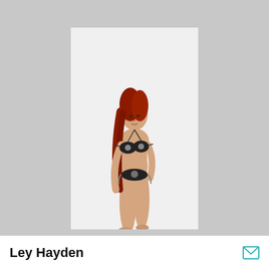[Figure (photo): A female model with long red hair wearing a black floral print bikini, posing against a white background. She is photographed full-length.]
Ley Hayden
[Figure (illustration): Envelope/mail icon in teal color]